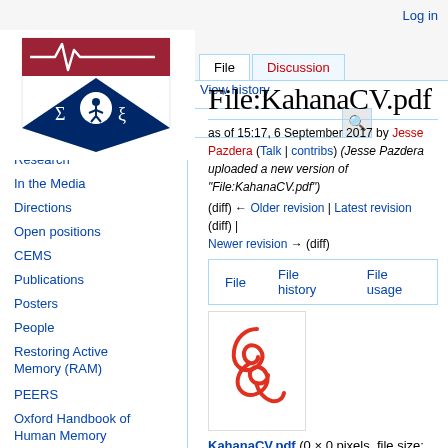Log in
[Figure (logo): University of Pennsylvania logo - shield with crimson top bar with ECG line, blue diamond with Sigma and Xi symbols]
File  Discussion  View history
File:KahanaCV.pdf
as of 15:17, 6 September 2017 by Jesse Pazdera (Talk | contribs) (Jesse Pazdera uploaded a new version of "File:KahanaCV.pdf")
(diff) ← Older revision | Latest revision (diff) | Newer revision → (diff)
File  File history  File usage
[Figure (logo): Adobe PDF file icon - red PDF symbol on white background]
KahanaCV.pdf (0 × 0 pixels, file size: 166 KB, MIME type: application/pdf)
Research
In the Media
Directions
Open positions
CEMS
Publications
Posters
People
Restoring Active Memory (RAM)
PEERS
Oxford Handbook of Human Memory
Behavioral data archive
Cognitive...